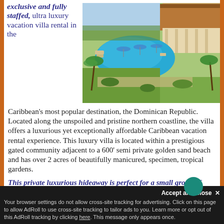exclusive and fully staffed, ultra luxury vacation villa rental in the
[Figure (photo): Aerial/overhead view of a luxury villa with a large blue swimming pool, lush tropical gardens, and a terrace with thatched roof structure in the Dominican Republic.]
Caribbean's most popular destination, the Dominican Republic. Located along the unspoiled and pristine northern coastline, the villa offers a luxurious yet exceptionally affordable Caribbean vacation rental experience. This luxury villa is located within a prestigious gated community adjacent to a 600' semi private golden sand beach and has over 2 acres of beautifully manicured, specimen, tropical gardens.
This private luxurious hideaway is perfect for a small group of nudist or swingers. The private nature of the property allows for nudity on the grounds and around the swimming pool and entertainment areas, as well as lifestyle activities.
The villa features eight (8) spacious bedrooms overlooking the ocean, each individually air conditioned with full en suite bathrooms, providing luxury accommodations for you and your group. The 15,000 sq. ft. luxury villa is fully s...
Your browser settings do not allow cross-site tracking for advertising. Click on this page to allow AdRoll to use cross-site tracking to tailor ads to you. Learn more or opt out of this AdRoll tracking by clicking here. This message only appears once.